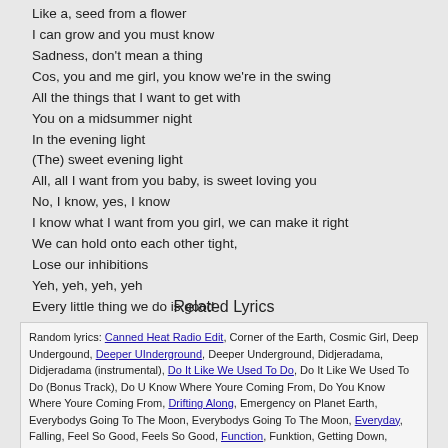Like a, seed from a flower
I can grow and you must know
Sadness, don't mean a thing
Cos, you and me girl, you know we're in the swing
All the things that I want to get with
You on a midsummer night
In the evening light
(The) sweet evening light
All, all I want from you baby, is sweet loving you
No, I know, yes, I know
I know what I want from you girl, we can make it right
We can hold onto each other tight,
Lose our inhibitions
Yeh, yeh, yeh, yeh
Every little thing we do is good
Every little thing you see is sweet
Every little part of you I'd like to meet
I want you girl, you know I want you
I want you in the evening light
Related Lyrics
Random lyrics: Canned Heat Radio Edit, Corner of the Earth, Cosmic Girl, Deep Undergound, Deeper UInderground, Deeper Underground, Didjeradama, Didjeradama (instrumental), Do It Like We Used To Do, Do It Like We Used To Do (Bonus Track), Do U Know Where Youre Coming From, Do You Know Where Youre Coming From, Drifting Along, Emergency on Planet Earth, Everybodys Going To The Moon, Everybodys Going To The Moon, Everyday, Falling, Feel So Good, Feels So Good, Function, Funktion, Getting Down, Giving Me a Bad Name, Half the Man, Head Over Heels, High Times, Hollywood Swingin, Hooked Up, Im In The Mood For Love, Im In The Mood For Love, Jamiroquai, Journey To Arnhemland, Journey to Arnhemland (instrumental), Just Another Story, King for a Day, Light Years, Little L, Love Foolosophy, Main Vein, Manifest Destiny, Morning Glory, Mr Moon, Music of the Mind, Music of the mind (instrumental), Our Time is Coming, Picture of My Life, Planet Home, Revolution 1993, Scam,